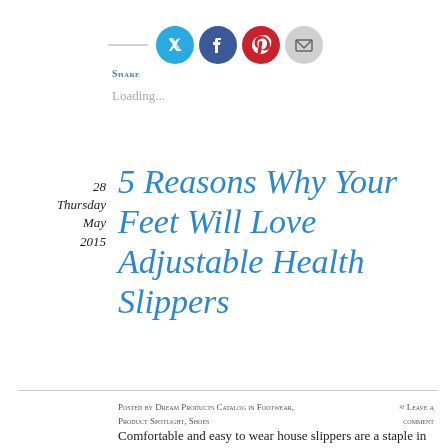[Figure (other): Social sharing icons: Twitter (blue circle), Facebook (blue circle), Pinterest (red circle), Email (gray circle), with a short horizontal rule to the left]
Share
Loading...
28
Thursday
May
2015
5 Reasons Why Your Feet Will Love Adjustable Health Slippers
Posted by Dream Products Catalog in Footwear, Product Spotlight, Shoes
≈ Leave a comment
Comfortable and easy to wear house slippers are a staple in every home for every family member. Good